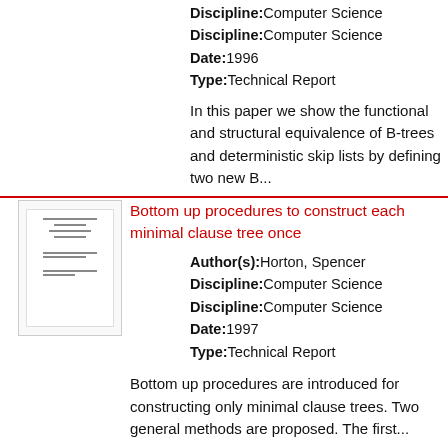Discipline: Computer Science
Discipline: Computer Science
Date: 1996
Type: Technical Report
In this paper we show the functional and structural equivalence of B-trees and deterministic skip lists by defining two new B...
Bottom up procedures to construct each minimal clause tree once
Author(s): Horton, Spencer
Discipline: Computer Science
Discipline: Computer Science
Date: 1997
Type: Technical Report
Bottom up procedures are introduced for constructing only minimal clause trees. Two general methods are proposed. The first...